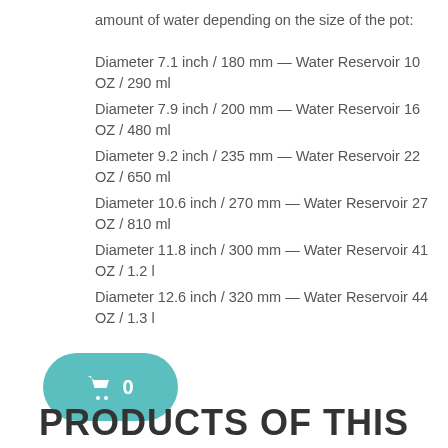amount of water depending on the size of the pot:
Diameter 7.1 inch / 180 mm — Water Reservoir 10 OZ / 290 ml
Diameter 7.9 inch / 200 mm — Water Reservoir 16 OZ / 480 ml
Diameter 9.2 inch / 235 mm — Water Reservoir 22 OZ / 650 ml
Diameter 10.6 inch / 270 mm — Water Reservoir 27 OZ / 810 ml
Diameter 11.8 inch / 300 mm — Water Reservoir 41 OZ / 1.2 l
Diameter 12.6 inch / 320 mm — Water Reservoir 44 OZ / 1.3 l
[Figure (infographic): Teal/cyan rounded button with shopping cart icon and number 0]
PRODUCTS OF THIS